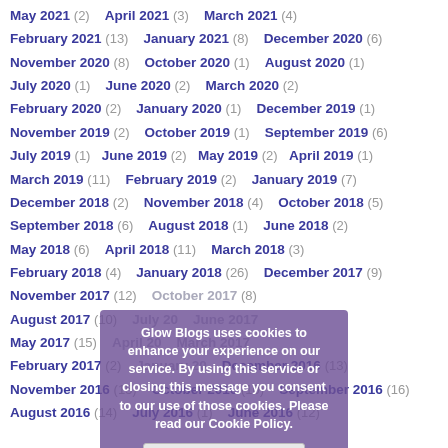May 2021 (2)   April 2021 (3)   March 2021 (4)
February 2021 (13)   January 2021 (8)   December 2020 (6)
November 2020 (8)   October 2020 (1)   August 2020 (1)
July 2020 (1)   June 2020 (2)   March 2020 (2)
February 2020 (2)   January 2020 (1)   December 2019 (1)
November 2019 (2)   October 2019 (1)   September 2019 (6)
July 2019 (1)   June 2019 (2)   May 2019 (2)   April 2019 (1)
March 2019 (11)   February 2019 (2)   January 2019 (7)
December 2018 (2)   November 2018 (4)   October 2018 (5)
September 2018 (6)   August 2018 (1)   June 2018 (2)
May 2018 (6)   April 2018 (11)   March 2018 (3)
February 2018 (4)   January 2018 (26)   December 2017 (9)
November 2017 (12)   October 2017 (8)
August 2017 (10)   July 2017   June 2017
May 2017 (15)   April 2017   March 2017
February 2017 (2)   January 2017   December 2016 (13)
November 2016 (15)   October 2016 (10)   September 2016 (16)
August 2016 (14)   July 2016 (1)   June 2016 (12)
Glow Blogs uses cookies to enhance your experience on our service. By using this service or closing this message you consent to our use of those cookies. Please read our Cookie Policy. OK